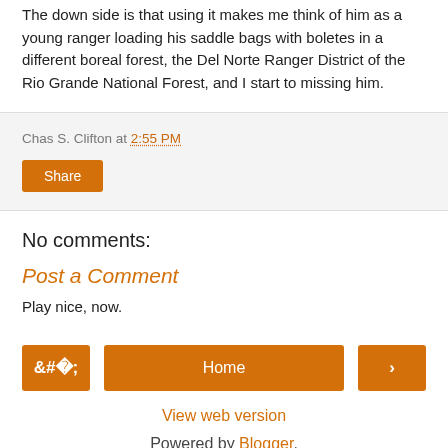The down side is that using it makes me think of him as a young ranger loading his saddle bags with boletes in a different boreal forest, the Del Norte Ranger District of the Rio Grande National Forest, and I start to missing him.
Chas S. Clifton at 2:55 PM
Share
No comments:
Post a Comment
Play nice, now.
< Home >
View web version
Powered by Blogger.